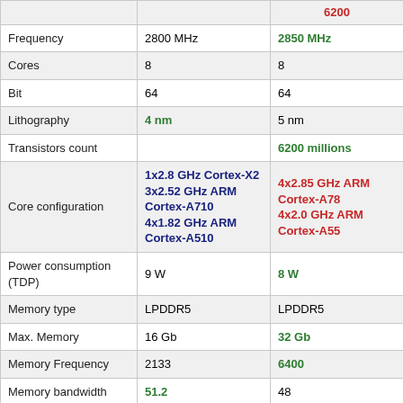|  | Col1 | Col2 |
| --- | --- | --- |
| Frequency | 2800 MHz | 2850 MHz |
| Cores | 8 | 8 |
| Bit | 64 | 64 |
| Lithography | 4 nm | 5 nm |
| Transistors count |  | 6200 millions |
| Core configuration | 1x2.8 GHz Cortex-X2
3x2.52 GHz ARM Cortex-A710
4x1.82 GHz ARM Cortex-A510 | 4x2.85 GHz ARM Cortex-A78
4x2.0 GHz ARM Cortex-A55 |
| Power consumption (TDP) | 9 W | 8 W |
| Memory type | LPDDR5 | LPDDR5 |
| Max. Memory | 16 Gb | 32 Gb |
| Memory Frequency | 2133 | 6400 |
| Memory bandwidth | 51.2 | 48 |
| Neural Processor (NPU) | Yes | Yes |
| L1 cache |  | 64 KB |
| L2 cache |  | 640 KB |
| L3 cache |  | 16 MB |
| Instruction set | ARM... | ARM... |